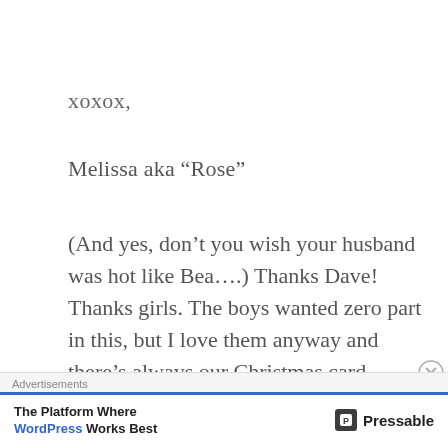xoxox,
Melissa aka “Rose”
(And yes, don’t you wish your husband was hot like Bea….) Thanks Dave! Thanks girls. The boys wanted zero part in this, but I love them anyway and there’s always our Christmas card… xoxo
Advertisements
The Platform Where WordPress Works Best